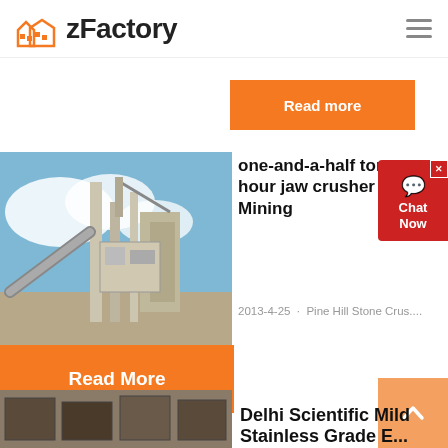zFactory
[Figure (screenshot): Orange 'Read more' button partially visible at top]
[Figure (photo): Industrial jaw crusher / mining plant machinery with conveyor belts against blue sky]
one-and-a-half ton per hour jaw crusher « BINQ Mining
2013-4-25 · Pine Hill Stone Crus....
[Figure (other): Read More orange button]
[Figure (other): Chat Now widget (red background)]
[Figure (other): Scroll to top orange button with up arrow]
[Figure (photo): Partial image of building/structure at bottom left]
Delhi Scientific Mild Stainless Grade E...